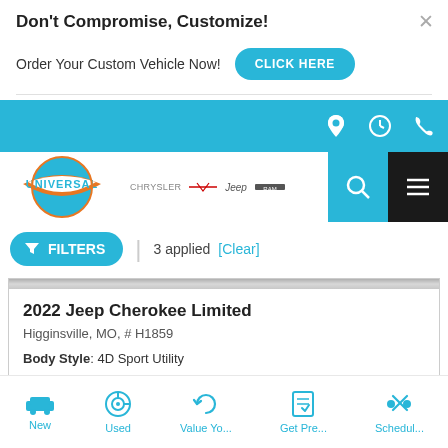Don't Compromise, Customize!
Order Your Custom Vehicle Now!
CLICK HERE
[Figure (screenshot): Blue navigation bar with location pin, clock, and phone icons in white]
[Figure (logo): Universal dealership logo with blue circle and orange/white badge, plus Chrysler, Ram, Jeep, Ram brand logos]
FILTERS  |  3 applied  [Clear]
2022 Jeep Cherokee Limited
Higginsville, MO, # H1859
Body Style: 4D Sport Utility
New
Used
Value Yo...
Get Pre...
Schedul...